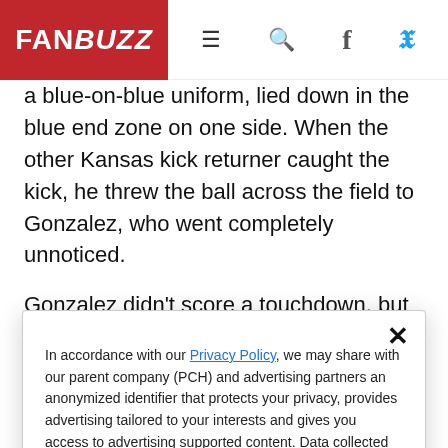FANBUZZ
a blue-on-blue uniform, lied down in the blue end zone on one side. When the other Kansas kick returner caught the kick, he threw the ball across the field to Gonzalez, who went completely unnoticed.
Gonzalez didn't score a touchdown, but the play worked to perfection. He hauled in the lateral at
In accordance with our Privacy Policy, we may share with our parent company (PCH) and advertising partners an anonymized identifier that protects your privacy, provides advertising tailored to your interests and gives you access to advertising supported content. Data collected on one of our sites may be used on our other owned and operated sites, which sites are identified in our Privacy Policy. All of our sites are governed by the same Privacy Policy, and by proceeding to access this site, you are consenting to that Privacy Policy.